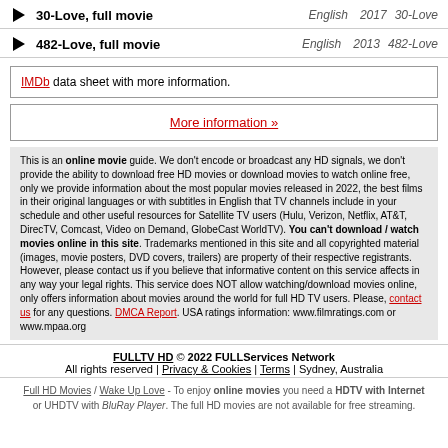▶ 30-Love, full movie  English  2017  30-Love
▶ 482-Love, full movie  English  2013  482-Love
IMDb data sheet with more information.
More information »
This is an online movie guide. We don't encode or broadcast any HD signals, we don't provide the ability to download free HD movies or download movies to watch online free, only we provide information about the most popular movies released in 2022, the best films in their original languages or with subtitles in English that TV channels include in your schedule and other useful resources for Satellite TV users (Hulu, Verizon, Netflix, AT&T, DirecTV, Comcast, Video on Demand, GlobeCast WorldTV). You can't download / watch movies online in this site. Trademarks mentioned in this site and all copyrighted material (images, movie posters, DVD covers, trailers) are property of their respective registrants. However, please contact us if you believe that informative content on this service affects in any way your legal rights. This service does NOT allow watching/download movies online, only offers information about movies around the world for full HD TV users. Please, contact us for any questions. DMCA Report. USA ratings information: www.filmratings.com or www.mpaa.org
FULLTV HD © 2022 FULLServices Network
All rights reserved | Privacy & Cookies | Terms | Sydney, Australia
Full HD Movies / Wake Up Love - To enjoy online movies you need a HDTV with Internet or UHDTV with BluRay Player. The full HD movies are not available for free streaming.